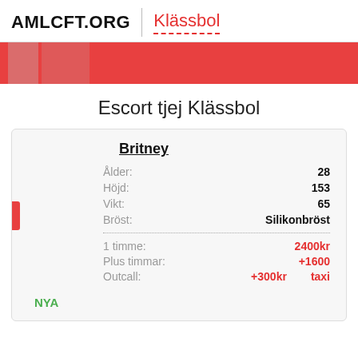AMLCFT.ORG | Klässbol
[Figure (other): Red banner navigation bar with two grey column placeholders on the left]
Escort tjej Klässbol
| Ålder: | 28 |
| Höjd: | 153 |
| Vikt: | 65 |
| Bröst: | Silikonbröst |
| 1 timme: | 2400kr |
| Plus timmar: | +1600 |
| Outcall: | +300kr   taxi |
NYA